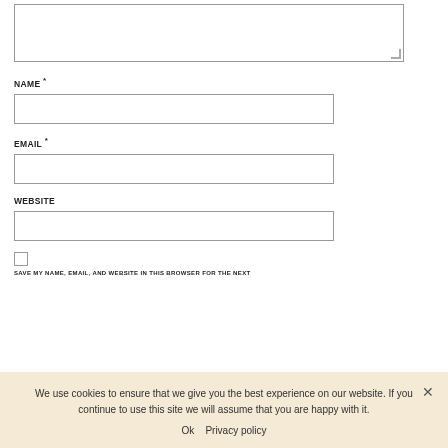[textarea — top of page, partially visible]
NAME *
[name text input]
EMAIL *
[email text input]
WEBSITE
[website text input]
SAVE MY NAME, EMAIL, AND WEBSITE IN THIS BROWSER FOR THE NEXT
We use cookies to ensure that we give you the best experience on our website. If you continue to use this site we will assume that you are happy with it.
Ok   Privacy policy